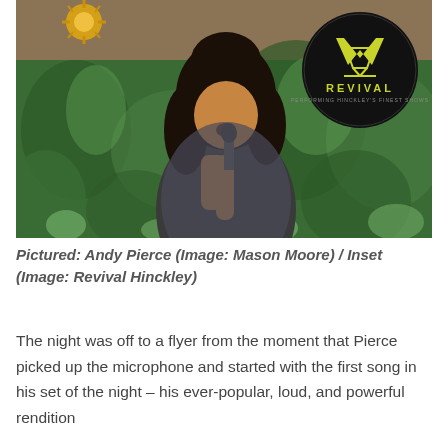[Figure (photo): A man with long curly hair singing into a microphone, standing in front of a lush green plant wall backdrop. He wears a patterned shirt. In the upper right corner is a circular black logo for 'Revival' with a stylized V emblem. In the upper left corner is a gold sunburst decoration.]
Pictured: Andy Pierce (Image: Mason Moore) / Inset (Image: Revival Hinckley)
The night was off to a flyer from the moment that Pierce picked up the microphone and started with the first song in his set of the night – his ever-popular, loud, and powerful rendition